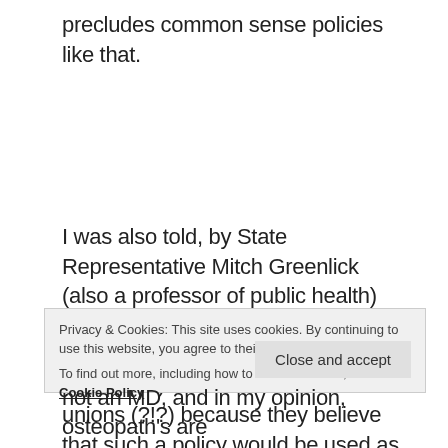precludes common sense policies like that.
I was also told, by State Representative Mitch Greenlick (also a professor of public health) that a lot of the opposition to mandatory vaccine policies (on a state level) comes from nurses unions (?!?) because they believe that such a policy would be used as a pretext to punish nurses and that doctors
Privacy & Cookies: This site uses cookies. By continuing to use this website, you agree to their use.
To find out more, including how to control cookies, see here: Cookie Policy
Close and accept
not an MD, and in my opinion, osteopath's are